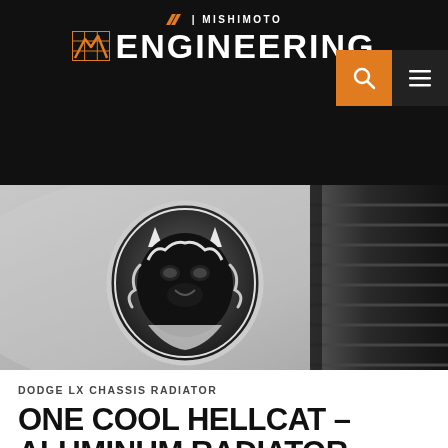MISHIMOTO | ENGINEERING
[Figure (photo): Close-up photo of a Dodge Hellcat badge (Hellcat cat logo in black and silver chrome) on a silver car body panel, with a black tire visible on the right side.]
DODGE LX CHASSIS RADIATOR
ONE COOL HELLCAT – ALUMINUM RADIATOR